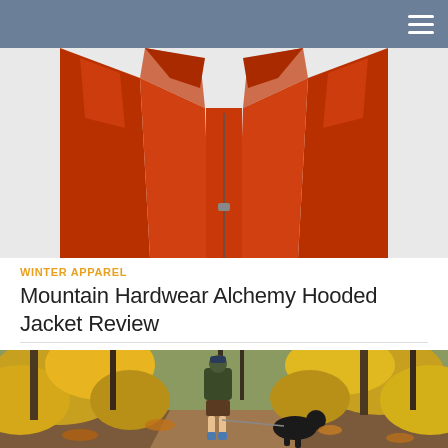[Figure (photo): Close-up of an orange Mountain Hardwear jacket with zipper visible against white background]
WINTER APPAREL
Mountain Hardwear Alchemy Hooded Jacket Review
[Figure (photo): Person wearing a dark green hooded jacket and blue beanie walking a black dog on a forest trail surrounded by yellow autumn foliage]